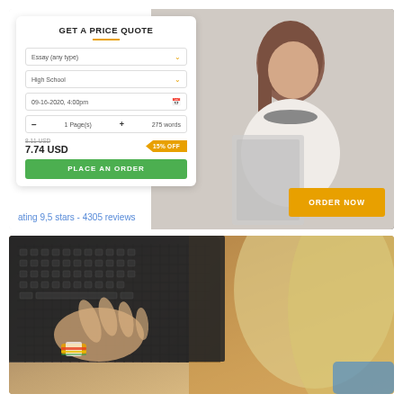[Figure (screenshot): Price quote form widget overlaid on photo of woman reading a book. Form shows fields: Essay (any type) dropdown, High School dropdown, date 09-16-2020 4:00pm, 1 Page(s) + 275 words counter, price 8.11 USD crossed out with 7.74 USD new price and 15% OFF badge, green PLACE AN ORDER button. Rating text: 'ating 9,5 stars - 4305 reviews'. Orange ORDER NOW button on right side.]
ating 9,5 stars - 4305 reviews
[Figure (photo): Close-up photo of a blonde woman with colorful bracelets typing on a laptop keyboard, wooden table surface visible, blue object in background.]